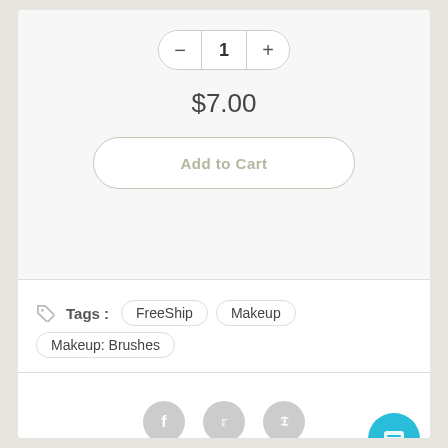1
$7.00
Add to Cart
Tags: FreeShip  Makeup  Makeup: Brushes
[Figure (screenshot): Social share icons: Facebook, Twitter, Pinterest. Chat support bubble (teal) bottom right.]